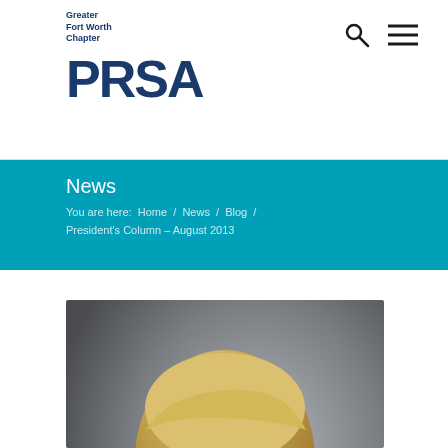Greater Fort Worth Chapter PRSA
News
You are here:  Home  /  News  /  Blog  /  President's Column – August 2013
[Figure (photo): Professional headshot of a blonde woman with blue eyes, wearing a pearl earring, photographed against a gray gradient background.]